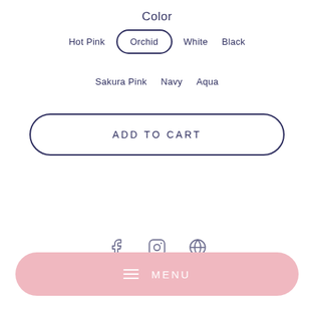Color
Hot Pink
Orchid (selected)
White
Black
Sakura Pink
Navy
Aqua
ADD TO CART
MENU